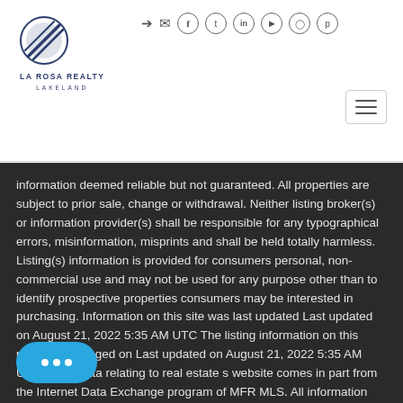La Rosa Realty Lakeland - header with logo and social icons
information deemed reliable but not guaranteed. All properties are subject to prior sale, change or withdrawal. Neither listing broker(s) or information provider(s) shall be responsible for any typographical errors, misinformation, misprints and shall be held totally harmless. Listing(s) information is provided for consumers personal, non-commercial use and may not be used for any purpose other than to identify prospective properties consumers may be interested in purchasing. Information on this site was last updated Last updated on August 21, 2022 5:35 AM UTC The listing information on this page last changed on Last updated on August 21, 2022 5:35 AM UTCd. The data relating to real estate s website comes in part from the Internet Data Exchange program of MFR MLS. All information deemed reliable